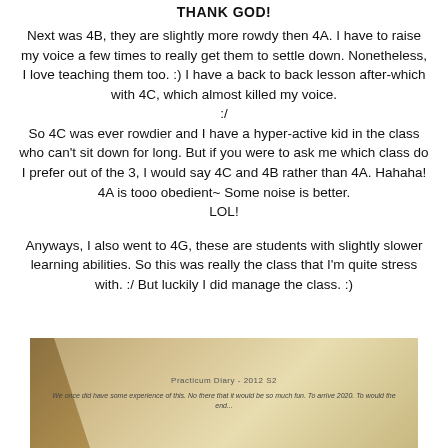THANK GOD!
Next was 4B, they are slightly more rowdy then 4A. I have to raise my voice a few times to really get them to settle down. Nonetheless, I love teaching them too. :) I have a back to back lesson after-which with 4C, which almost killed my voice.
:/
So 4C was ever rowdier and I have a hyper-active kid in the class who can't sit down for long. But if you were to ask me which class do I prefer out of the 3, I would say 4C and 4B rather than 4A. Hahaha! 4A is tooo obedient~ Some noise is better.
LOL!
Anyways, I also went to 4G, these are students with slightly slower learning abilities. So this was really the class that I'm quite stress with. :/ But luckily I did manage the class. :)
[Figure (photo): A blurred/close-up photo of what appears to be a document or paper with some printed text, against a warm golden/tan background.]